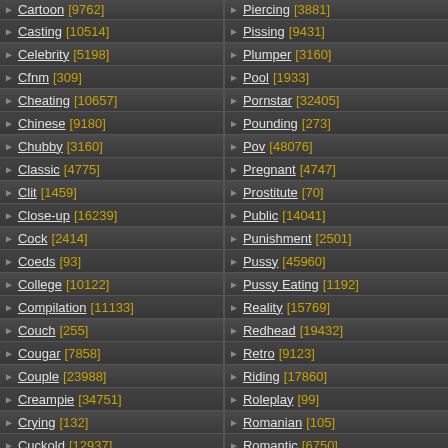Casting [10514]
Celebrity [5198]
Cfnm [309]
Cheating [10657]
Chinese [9180]
Chubby [3160]
Classic [4775]
Clit [1459]
Close-up [16239]
Cock [2414]
Coeds [93]
College [10122]
Compilation [11133]
Couch [255]
Cougar [7858]
Couple [23988]
Creampie [34751]
Crying [132]
Cuckold [12937]
Cum-swapping [19]
Cumshot [75943]
Cute [12496]
Pissing [9431]
Plumper [3160]
Pool [1933]
Pornstar [32405]
Pounding [273]
Pov [48076]
Pregnant [4747]
Prostitute [70]
Public [14041]
Punishment [2501]
Pussy [45960]
Pussy Eating [1192]
Reality [15769]
Redhead [19432]
Retro [9123]
Riding [17860]
Roleplay [99]
Romanian [105]
Romantic [6750]
Rough [6524]
Russian [12668]
Scandal [44]